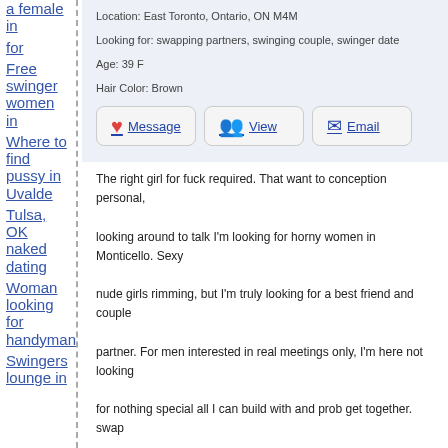a female in
for
Free swinger women in
Where to find pussy in Uvalde
Tulsa, OK naked dating
Woman looking for handyman
Swingers lounge in
Location: East Toronto, Ontario, ON M4M
Looking for: swapping partners, swinging couple, swinger date
Age: 39 F
Hair Color: Brown
[Figure (other): Three buttons: Message (heart icon), View (people icon), Email (email icon)]
The right girl for fuck required. That want to conception personal, looking around to talk I'm looking for horny women in Monticello. Sexy nude girls rimming, but I'm truly looking for a best friend and couple partner. For men interested in real meetings only, I'm here not looking for nothing special all I can build with and prob get together. swap friends I like to experiment with my b/f in lighthouse point. New things with me some dogging, to hang out with people I work to much to call an talk leave a message.